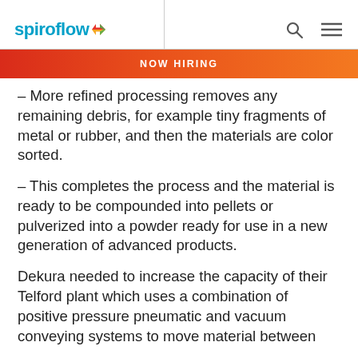spiroflow | NOW HIRING
– More refined processing removes any remaining debris, for example tiny fragments of metal or rubber, and then the materials are color sorted.
– This completes the process and the material is ready to be compounded into pellets or pulverized into a powder ready for use in a new generation of advanced products.
Dekura needed to increase the capacity of their Telford plant which uses a combination of positive pressure pneumatic and vacuum conveying systems to move material between